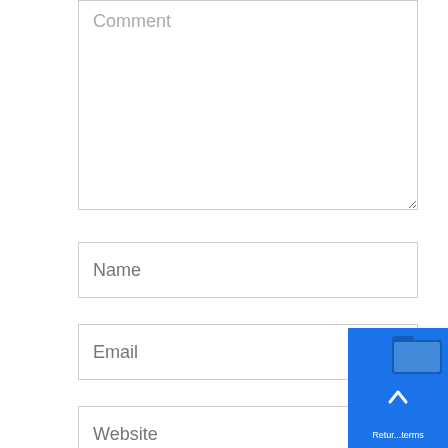[Figure (screenshot): Web form with Comment textarea placeholder, Name input field, Email input field, Website input field, and a blue scroll-to-top button overlay in the bottom right corner.]